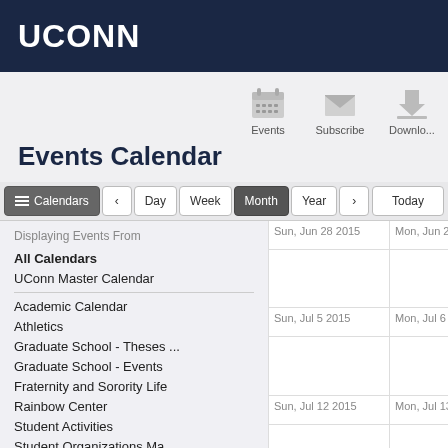UCONN
Events Calendar
Events | Subscribe | Download
Calendars | < | Day | Week | Month | Year | > | Today
Displaying Events From
All Calendars
UConn Master Calendar
Academic Calendar
Athletics
Graduate School - Theses ...
Graduate School - Events
Fraternity and Sorority Life
Rainbow Center
Student Activities
Student Organizations Ma...
SUBOG - Student Union B...
| Sun, Jun 28 2015 | Mon, Jun 29 2015 | Tue, J... |
| --- | --- | --- |
|  |  |  |
| Sun, Jul 5 2015 | Mon, Jul 6 2015 | Tue, J... 5pm Hartf... Info S... |
| Sun, Jul 12 2015 | Mon, Jul 13 2015 | Tue, J... |